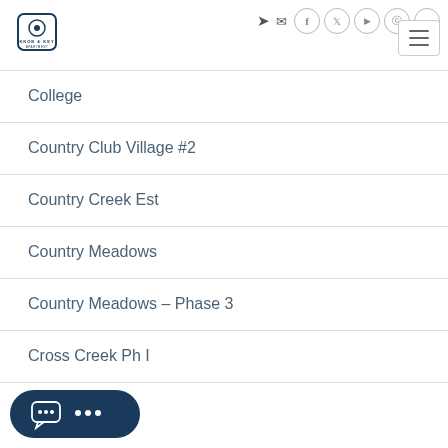[Figure (logo): Knob & Key logo with icon and text]
College
Country Club Village #2
Country Creek Est
Country Meadows
Country Meadows - Phase 3
Cross Creek Ph I
...at Oak Vista
[Figure (other): Chat button with speech bubble and three dots]